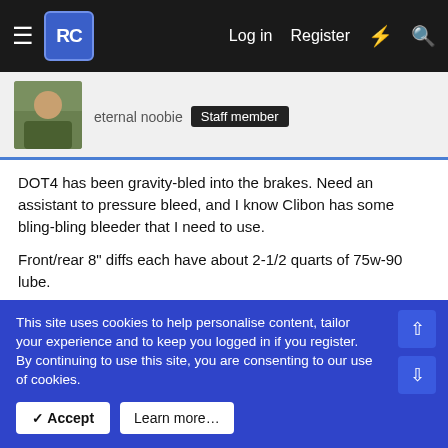RC [logo] | Log in | Register
eternal noobie  Staff member
DOT4 has been gravity-bled into the brakes. Need an assistant to pressure bleed, and I know Clibon has some bling-bling bleeder that I need to use.

Front/rear 8" diffs each have about 2-1/2 quarts of 75w-90 lube.

Portal boxes also lubed....4 portals takes 3 quarts of 75w-90. EDIT: According to Jesse, the boxes required only a pint of fluid. So, mine are now overfilled.

I used some sintered bronze things on the portal boxes for breathers... I know some guys run nothing and let them weep at
This site uses cookies to help personalise content, tailor your experience and to keep you logged in if you register.
By continuing to use this site, you are consenting to our use of cookies.